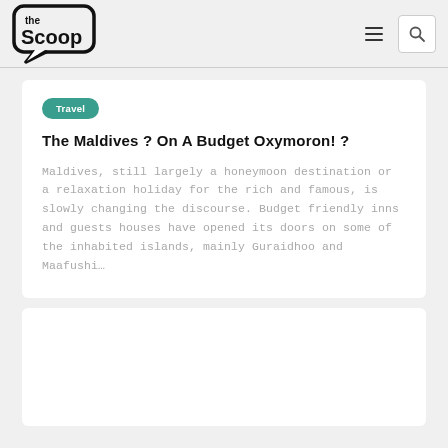[Figure (logo): The Scoop logo — speech bubble outline with bold 'the Scoop' text inside]
The Scoop website header with hamburger menu and search icon
Travel
The Maldives ? On A Budget Oxymoron! ?
Maldives, still largely a honeymoon destination or a relaxation holiday for the rich and famous, is slowly changing the discourse. Budget friendly inns and guests houses have opened its doors on some of the inhabited islands, mainly Guraidhoo and Maafushi...